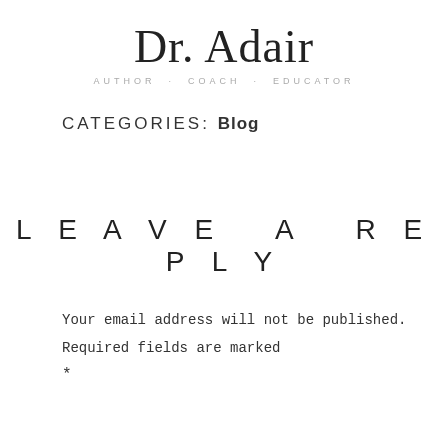Dr. Adair
AUTHOR · COACH · EDUCATOR
CATEGORIES: Blog
LEAVE A REPLY
Your email address will not be published. Required fields are marked *